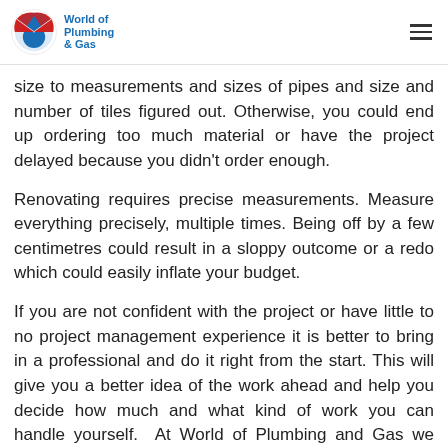World of Plumbing & Gas
size to measurements and sizes of pipes and size and number of tiles figured out. Otherwise, you could end up ordering too much material or have the project delayed because you didn't order enough.
Renovating requires precise measurements. Measure everything precisely, multiple times. Being off by a few centimetres could result in a sloppy outcome or a redo which could easily inflate your budget.
If you are not confident with the project or have little to no project management experience it is better to bring in a professional and do it right from the start. This will give you a better idea of the work ahead and help you decide how much and what kind of work you can handle yourself. At World of Plumbing and Gas we offer complete Project renovations, we can take care of your